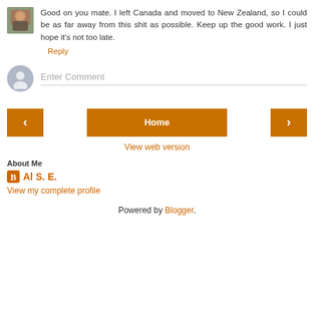Good on you mate. I left Canada and moved to New Zealand, so I could be as far away from this shit as possible. Keep up the good work. I just hope it's not too late.
Reply
Enter Comment
[Figure (other): Navigation buttons: left arrow, Home button, right arrow]
View web version
About Me
Al S. E.
View my complete profile
Powered by Blogger.